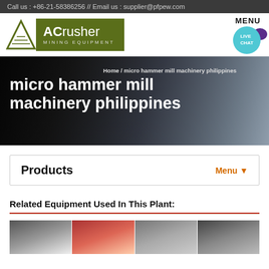Call us : +86-21-58386256 // Email us : supplier@pfpew.com
[Figure (logo): ACrusher Mining Equipment logo with triangle icon and olive green background]
micro hammer mill machinery philippines
Home / micro hammer mill machinery philippines
Products
Related Equipment Used In This Plant:
[Figure (photo): Row of equipment photos at bottom of page]